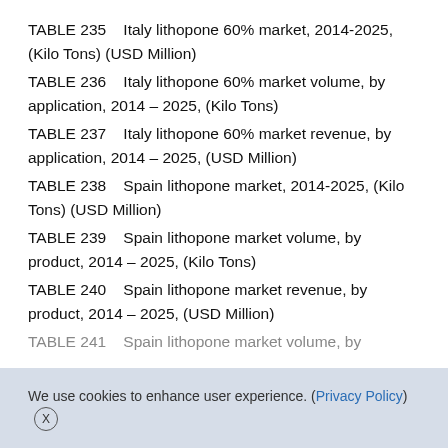TABLE 235    Italy lithopone 60% market, 2014-2025, (Kilo Tons) (USD Million)
TABLE 236    Italy lithopone 60% market volume, by application, 2014 – 2025, (Kilo Tons)
TABLE 237    Italy lithopone 60% market revenue, by application, 2014 – 2025, (USD Million)
TABLE 238    Spain lithopone market, 2014-2025, (Kilo Tons) (USD Million)
TABLE 239    Spain lithopone market volume, by product, 2014 – 2025, (Kilo Tons)
TABLE 240    Spain lithopone market revenue, by product, 2014 – 2025, (USD Million)
TABLE 241    Spain lithopone market volume, by
We use cookies to enhance user experience. (Privacy Policy)  X